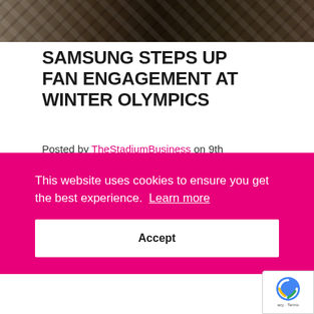[Figure (photo): Top portion of a webpage showing a photo strip of Samsung products (likely tablets/phones on wooden surfaces) cropped at the top of the page]
SAMSUNG STEPS UP FAN ENGAGEMENT AT WINTER OLYMPICS
Posted by TheStadiumBusiness on 9th February 2018
Korean consumer electronics company Samsung has organised a range of fan
This website uses cookies to ensure you get the best experience. Learn more
Accept